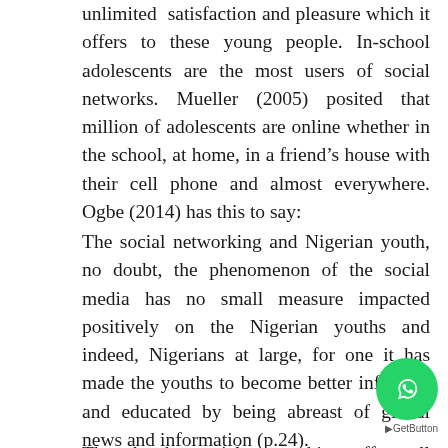unlimited satisfaction and pleasure which it offers to these young people. In-school adolescents are the most users of social networks. Mueller (2005) posited that million of adolescents are online whether in the school, at home, in a friend’s house with their cell phone and almost everywhere. Ogbe (2014) has this to say:
The social networking and Nigerian youth, no doubt, the phenomenon of the social media has no small measure impacted positively on the Nigerian youths and indeed, Nigerians at large, for one it has made the youths to become better informed and educated by being abreast of global news and information (p.24).
Though, the social networking offers all possible